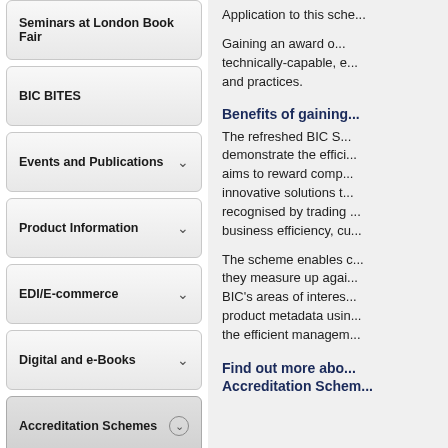Seminars at London Book Fair
BIC BITES
Events and Publications
Product Information
EDI/E-commerce
Digital and e-Books
Accreditation Schemes
Overview
Metadata Excellence Award and Product Data Excellence Award
Supply Chain Excellence Award
Technology Excellence in Libraries Award
Application to this sche...
Gaining an award o... technically-capable, e... and practices.
Benefits of gaining...
The refreshed BIC S... demonstrate the effici... aims to reward comp... innovative solutions t... recognised by trading ... business efficiency, cu...
The scheme enables c... they measure up agai... BIC's areas of interes... product metadata usin... the efficient managem...
Find out more abo... Accreditation Schem...